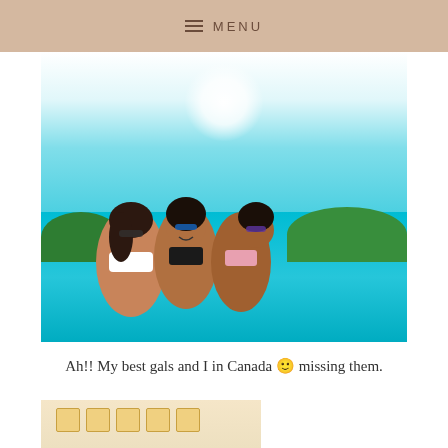≡ MENU
[Figure (photo): Three young women in bikinis laughing and hugging each other on a lake with turquoise water and green trees in the background, sunny day, Canada]
Ah!! My best gals and I in Canada 🙂 missing them.
[Figure (photo): Partial photo of food items, appears to be cheese or similar food on a white surface]